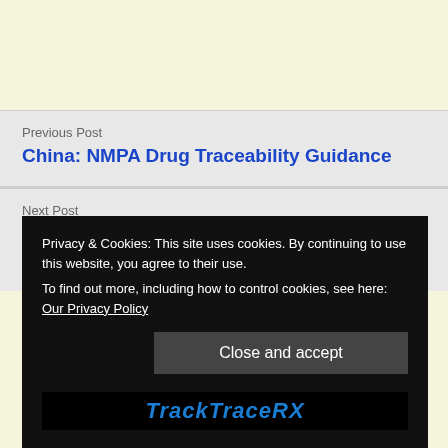Previous Post
China: NMPA Drug Traceability Guidance
Next Post
Is The FDA About To Delay Enforcement Of The Wholesaler's 2019 Mandate?
Privacy & Cookies: This site uses cookies. By continuing to use this website, you agree to their use.
To find out more, including how to control cookies, see here: Our Privacy Policy
Close and accept